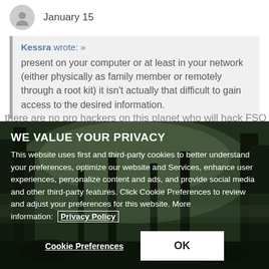January 15
Kessra wrote: »
present on your computer or at least in your network (either physically as family member or remotely through a root kit) it isn't actually that difficult to gain access to the desired information.
there are no pro hackers on this planet who will hack FSO
WE VALUE YOUR PRIVACY
This website uses first and third-party cookies to better understand your preferences, optimize our website and Services, enhance user experiences, personalize content and ads, and provide social media and other third-party features. Click Cookie Preferences to review and adjust your preferences for this website. More information:  Privacy Policy
Cookie Preferences
OK